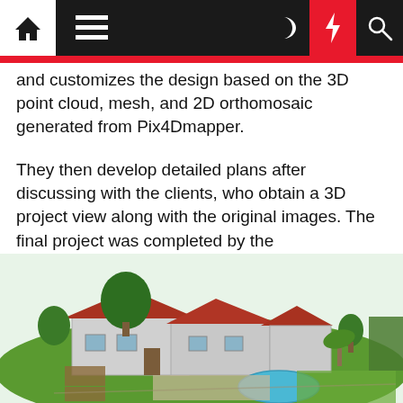[Navigation bar with home, menu, moon, lightning, search icons]
and customizes the design based on the 3D point cloud, mesh, and 2D orthomosaic generated from Pix4Dmapper.
They then develop detailed plans after discussing with the clients, who obtain a 3D project view along with the original images. The final project was completed by the implementation team, who planned the entire design schedule: presenting and reporting daily progress to the clients regarding the landscape design outcome.
[Figure (illustration): 3D rendered aerial view of a residential property with red-tiled roof house, green lawn, swimming pool, trees, and surrounding garden landscape design.]